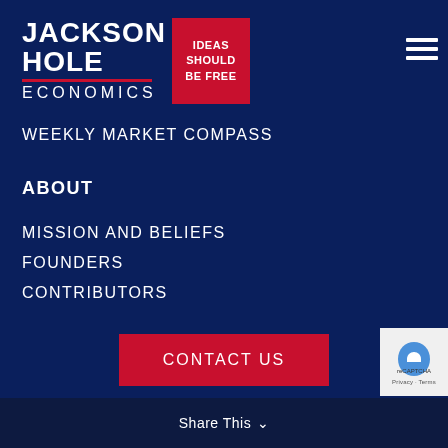[Figure (logo): Jackson Hole Economics logo with red box containing 'IDEAS SHOULD BE FREE' text and hamburger menu icon]
WEEKLY MARKET COMPASS
ABOUT
MISSION AND BELIEFS
FOUNDERS
CONTRIBUTORS
CONTACT US
Share This